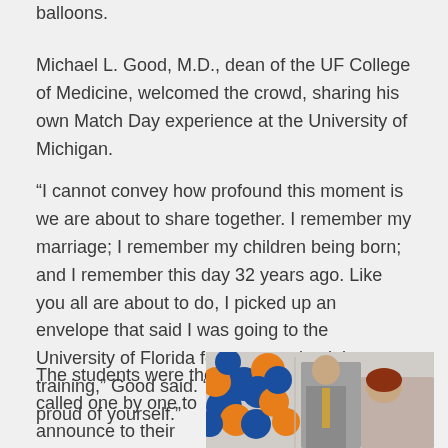balloons.
Michael L. Good, M.D., dean of the UF College of Medicine, welcomed the crowd, sharing his own Match Day experience at the University of Michigan.
“I cannot convey how profound this moment is we are about to share together. I remember my marriage; I remember my children being born; and I remember this day 32 years ago. Like you all are about to do, I picked up an envelope that said I was going to the University of Florida for my anesthesiology training,” Good said. “Take a moment and be proud of yourself.”
The students were then called one by one to announce to their
[Figure (photo): Photo showing blue and orange balloons in the background with two people, one in a gray suit and one with red hair, appearing to interact closely.]